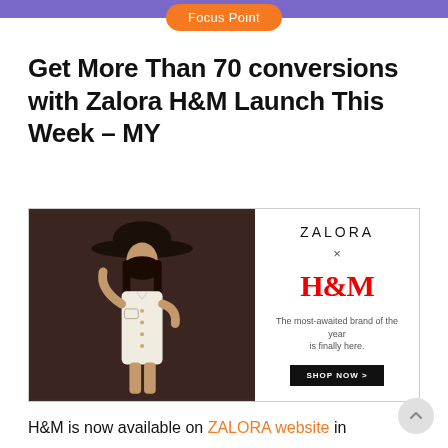Focus Point
Get More Than 70 conversions with Zalora H&M Launch This Week – MY
[Figure (photo): Advertisement banner showing a fashion model in a white dress and black hat on left side, and ZALORA x H&M branding with 'The most-awaited brand of the year is finally here.' and SHOP NOW button on right side]
H&M is now available on ZALORA website in